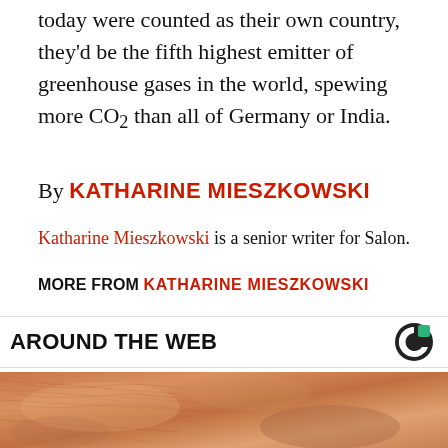today were counted as their own country, they'd be the fifth highest emitter of greenhouse gases in the world, spewing more CO2 than all of Germany or India.
By KATHARINE MIESZKOWSKI
Katharine Mieszkowski is a senior writer for Salon.
MORE FROM KATHARINE MIESZKOWSKI
AROUND THE WEB
[Figure (photo): Close-up photograph of an elderly person's face showing skin texture and wrinkles around the nose and cheek area]